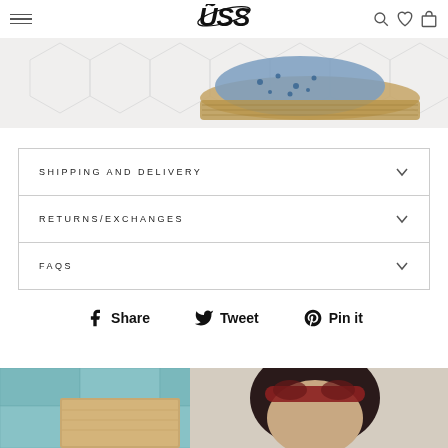USS — navigation header with hamburger menu, USS logo, search, heart, and bag icons
[Figure (photo): Close-up photo of a blue polka-dot espadrille wedge shoe on white hexagonal tile floor]
SHIPPING AND DELIVERY
RETURNS/EXCHANGES
FAQS
Share   Tweet   Pin it
[Figure (photo): Photo of a woman with dark hair and red sunglasses headband against a teal/turquoise wall background]